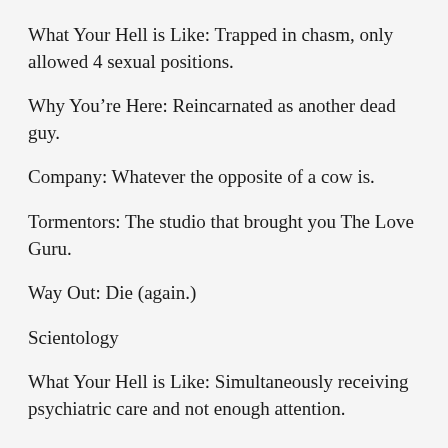What Your Hell is Like: Trapped in chasm, only allowed 4 sexual positions.
Why You're Here: Reincarnated as another dead guy.
Company: Whatever the opposite of a cow is.
Tormentors: The studio that brought you The Love Guru.
Way Out: Die (again.)
Scientology
What Your Hell is Like: Simultaneously receiving psychiatric care and not enough attention.